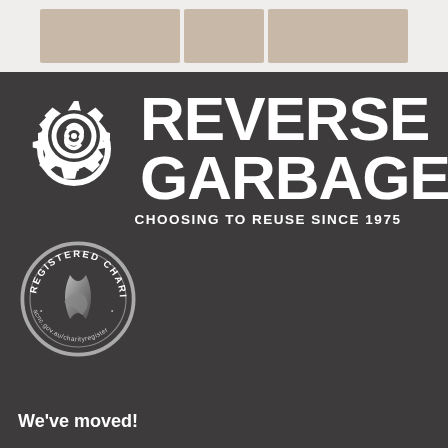[Figure (photo): Strip of photos at top of page showing people or items, partially visible]
[Figure (logo): Reverse Garbage logo: gear icon on left with 'REVERSE GARBAGE' in large bold white text and tagline 'CHOOSING TO REUSE SINCE 1975']
[Figure (logo): ACNC Registered Charity circular badge/seal with ribbon graphic, text 'REGISTERED CHARITY' and 'acnc.gov.au/charityregister']
We've moved!